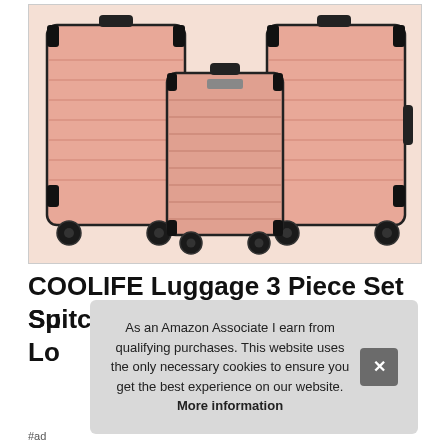[Figure (photo): Three rose/salmon-pink hard-shell suitcases of different sizes (large, medium, small) with black trim, wheels, and handles arranged together against a white background.]
COOLIFE Luggage 3 Piece Set Suitcase Sp Lo
As an Amazon Associate I earn from qualifying purchases. This website uses the only necessary cookies to ensure you get the best experience on our website. More information
#ad